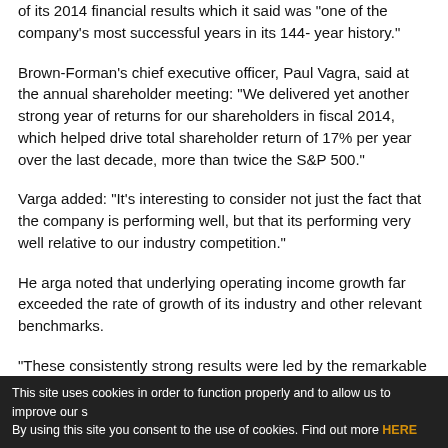of its 2014 financial results which it said was "one of the company's most successful years in its 144- year history."
Brown-Forman's chief executive officer, Paul Vagra, said at the annual shareholder meeting: "We delivered yet another strong year of returns for our shareholders in fiscal 2014, which helped drive total shareholder return of 17% per year over the last decade, more than twice the S&P 500."
Varga added: "It's interesting to consider not just the fact that the company is performing well, but that its performing very well relative to our industry competition."
He arga noted that underlying operating income growth far exceeded the rate of growth of its industry and other relevant benchmarks.
"These consistently strong results were led by the remarkable Jack
This site uses cookies in order to function properly and to allow us to improve our s By using this site you consent to the use of cookies. Find out more HERE